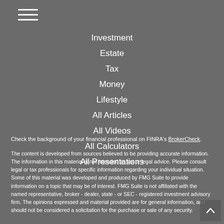[Figure (other): Hamburger menu icon with three horizontal white lines]
Investment
Estate
Tax
Money
Lifestyle
All Articles
All Videos
All Calculators
All Presentations
Check the background of your financial professional on FINRA's BrokerCheck.
The content is developed from sources believed to be providing accurate information. The information in this material is not intended as tax or legal advice. Please consult legal or tax professionals for specific information regarding your individual situation. Some of this material was developed and produced by FMG Suite to provide information on a topic that may be of interest. FMG Suite is not affiliated with the named representative, broker - dealer, state - or SEC - registered investment advisory firm. The opinions expressed and material provided are for general information, and should not be considered a solicitation for the purchase or sale of any security.